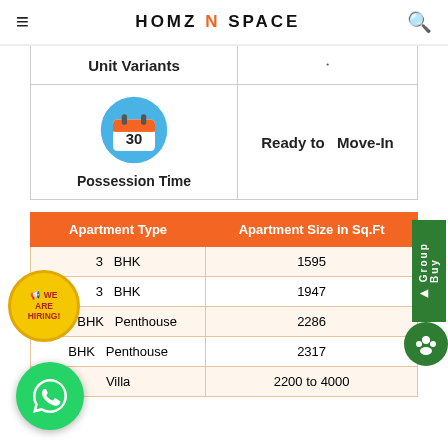HOMZ N SPACE
| Unit Variants |  |
| Possession Time | Ready to Move-In |
| Apartment Type | Apartment Size in Sq.Ft |
| --- | --- |
| 3 BHK | 1595 |
| 3 BHK | 1947 |
| 4 BHK Penthouse | 2286 |
| BHK Penthouse | 2317 |
| Villa | 2200 to 4000 |